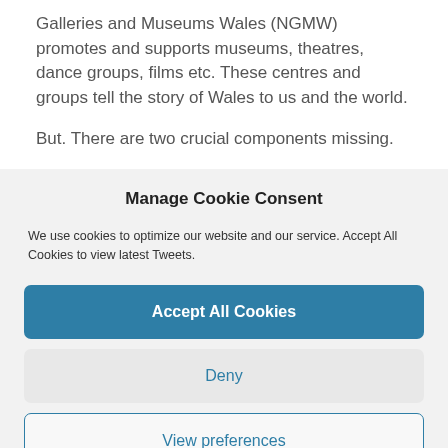Galleries and Museums Wales (NGMW) promotes and supports museums, theatres, dance groups, films etc. These centres and groups tell the story of Wales to us and the world.
But. There are two crucial components missing.
Manage Cookie Consent
We use cookies to optimize our website and our service. Accept All Cookies to view latest Tweets.
Accept All Cookies
Deny
View preferences